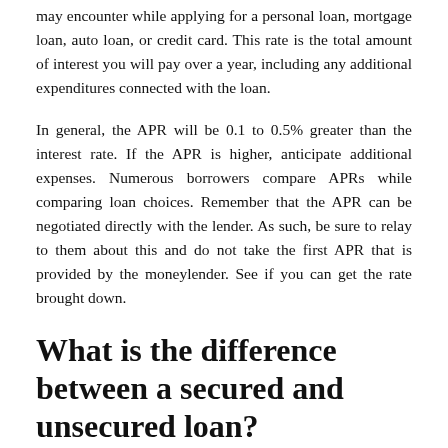may encounter while applying for a personal loan, mortgage loan, auto loan, or credit card. This rate is the total amount of interest you will pay over a year, including any additional expenditures connected with the loan.
In general, the APR will be 0.1 to 0.5% greater than the interest rate. If the APR is higher, anticipate additional expenses. Numerous borrowers compare APRs while comparing loan choices. Remember that the APR can be negotiated directly with the lender. As such, be sure to relay to them about this and do not take the first APR that is provided by the moneylender. See if you can get the rate brought down.
What is the difference between a secured and unsecured loan?
Through a secured loan, the moneylender will take your personal items like your vehicle or home as an assurance on the loan. They keep this assurance if you do not pay back the loan. If you do not recompense the loan, the moneylender keeps your assurance items.